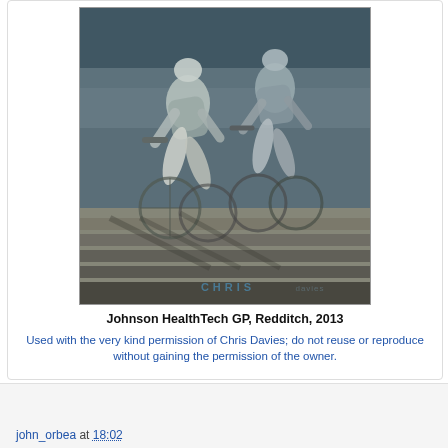[Figure (photo): Two cyclists riding road bikes side by side in a race, photographed in sepia/blue-tinted black and white. The cyclists are wearing racing gear and helmets. A watermark reading 'CHRIS' appears at the bottom of the image.]
Johnson HealthTech GP, Redditch, 2013
Used with the very kind permission of Chris Davies; do not reuse or reproduce without gaining the permission of the owner.
john_orbea at 18:02